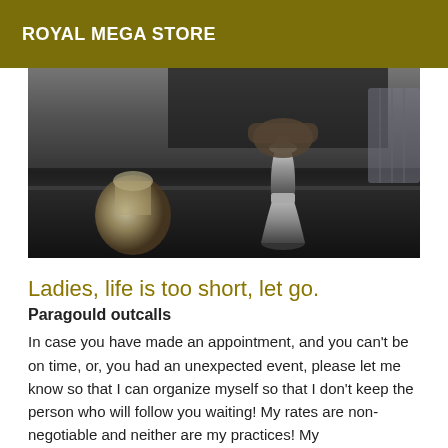ROYAL MEGA STORE
[Figure (photo): A person's hands holding or operating a metallic stacked cocktail shaker on a dark granite countertop, with a round glass jar on the left and tiled wall in the background.]
Ladies, life is too short, let go.
Paragould outcalls
In case you have made an appointment, and you can't be on time, or, you had an unexpected event, please let me know so that I can organize myself so that I don't keep the person who will follow you waiting! My rates are non-negotiable and neither are my practices! My